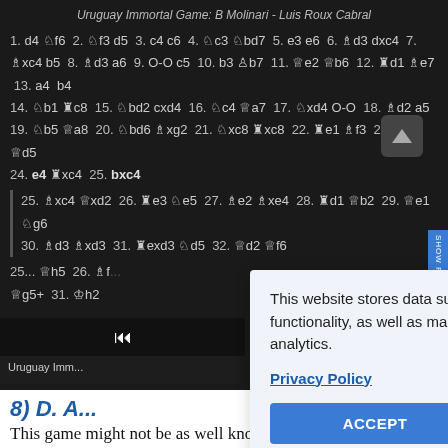Uruguay Immortal Game: B Molinari - Luis Roux Cabral
1. d4 Nf6 2. Nf3 d5 3. c4 c6 4. Nc3 Nbd7 5. e3 e6 6. Bd3 dxc4 7. Bxc4 b5 8. Bd3 a6 9. O-O c5 10. b3 Bb7 11. Qe2 Qb6 12. Rd1 Be7 13. a4 b4 14. Nb1 Rc8 15. Nbd2 cxd4 16. Nc4 Qa7 17. Nxd4 O-O 18. Bd2 a5 19. Nb5 Qa8 20. Nbd6 Bxg2 21. Nxc8 Rxc8 22. Re1 Bf3 23. Qf1 Qd5 24. e4 Rxc4 25. bxc4
25. Bxc4 Qxd2 26. Re3 Ne5 27. Be2 Bxe4 28. Rd1 Qb2 29. Qe1 Ng6 30. Bd3 Bxd3 31. Rexd3 Nd5 32. Qd2 Qf6
25... Qh5 26. Bf... Qg5+ 31. Kh2
This website stores data such as cookies to enable essential site functionality, as well as marketing, personalization, and analytics.
Privacy Policy
ACCEPT
DENY
8) D. A...
This game might not be as well known as some